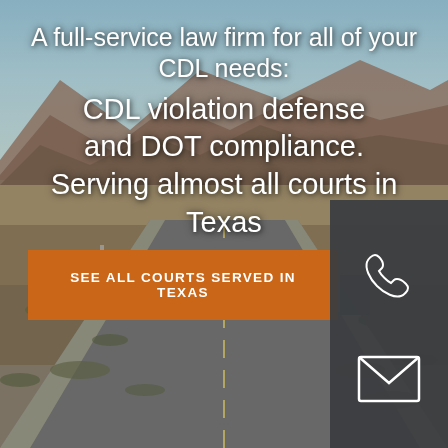[Figure (photo): Desert highway scene with a semi-truck and car driving through a Texas desert landscape with mountains in the background. Road signs visible on the left side.]
A full-service law firm for all of your CDL needs:
CDL violation defense
and DOT compliance.
Serving almost all courts in Texas
SEE ALL COURTS SERVED IN TEXAS
[Figure (illustration): Phone icon (receiver) and envelope/mail icon displayed in white on dark gray background]